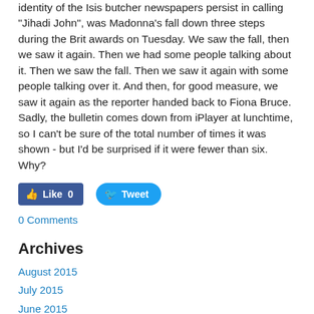identity of the Isis butcher newspapers persist in calling "Jihadi John", was Madonna's fall down three steps during the Brit awards on Tuesday. We saw the fall, then we saw it again. Then we had some people talking about it. Then we saw the fall. Then we saw it again with some people talking over it. And then, for good measure, we saw it again as the reporter handed back to Fiona Bruce. Sadly, the bulletin comes down from iPlayer at lunchtime, so I can't be sure of the total number of times it was shown - but I'd be surprised if it were fewer than six. Why?
[Figure (other): Facebook Like button (count: 0) and Twitter Tweet button]
0 Comments
Archives
August 2015
July 2015
June 2015
May 2015
April 2015
March 2015